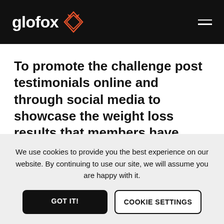[Figure (logo): Glofox logo: white text 'glofox' with orange fox head diamond icon on black background header, with hamburger menu icon on right]
To promote the challenge post testimonials online and through social media to showcase the weight loss results that members have achieved previously.
Make an offer...
We use cookies to provide you the best experience on our website. By continuing to use our site, we will assume you are happy with it.
GOT IT!
COOKIE SETTINGS